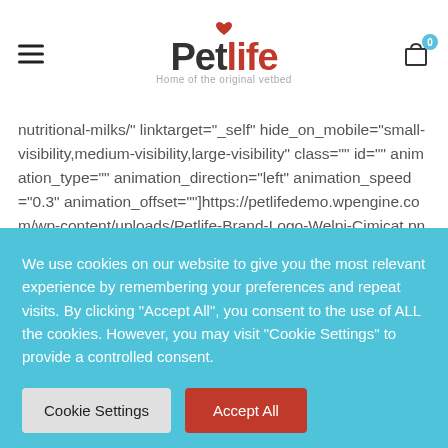Petlife — Home of the original vetbed
nutritional-milks/" linktarget="_self" hide_on_mobile="small-visibility,medium-visibility,large-visibility" class="" id="" animation_type="" animation_direction="left" animation_speed="0.3" animation_offset=""]https://petlifedemo.wpengine.com/wp-content/uploads/Petlife-Brand-Logo-Welpi-Cimicat.png[/fusion_imageframe][/fusion_builder_column][fusion_builder_column type="1_5" layout="1_5" spacing="" center_content="no"
We use cookies on our website to give you the most relevant experience by remembering your preferences and repeat visits. By clicking "Accept All", you consent to the use of ALL the cookies. However, you may visit "Cookie Settings" to provide a controlled consent.